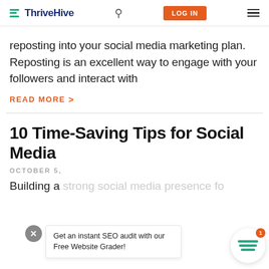ThriveHive | LOG IN
reposting into your social media marketing plan. Reposting is an excellent way to engage with your followers and interact with
READ MORE >
10 Time-Saving Tips for Social Media
OCTOBER 5,
Building a strong social media presence fo